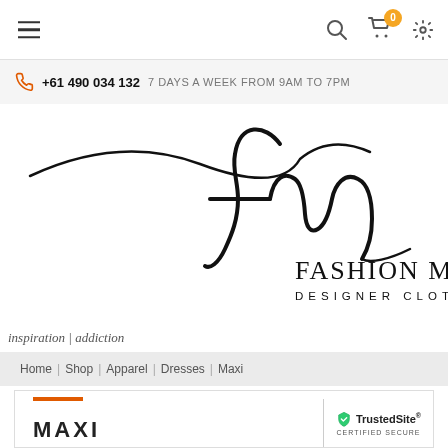Navigation bar with hamburger menu, search, cart (0), and settings icons
+61 490 034 132   7 DAYS A WEEK FROM 9AM TO 7PM
[Figure (logo): Fashion Muse Designer Clothing logo with cursive fm lettermark and tagline: inspiration | addiction]
inspiration | addiction
Home | Shop | Apparel | Dresses | Maxi
MAXI
[Figure (logo): TrustedSite Certified Secure badge]